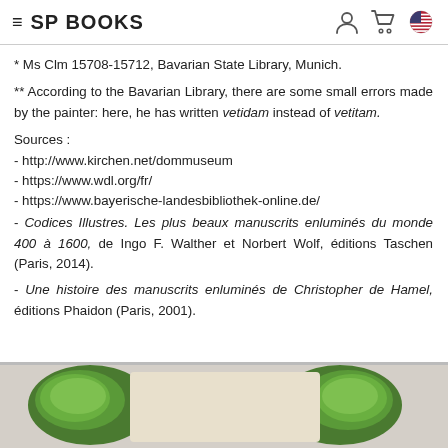≡ SP BOOKS
* Ms Clm 15708-15712, Bavarian State Library, Munich.
** According to the Bavarian Library, there are some small errors made by the painter: here, he has written vetidam instead of vetitam.
Sources :
- http://www.kirchen.net/dommuseum
- https://www.wdl.org/fr/
- https://www.bayerische-landesbibliothek-online.de/
- Codices Illustres. Les plus beaux manuscrits enluminés du monde 400 à 1600, de Ingo F. Walther et Norbert Wolf, éditions Taschen (Paris, 2014).
- Une histoire des manuscrits enluminés de Christopher de Hamel, éditions Phaidon (Paris, 2001).
[Figure (photo): Close-up photograph of illuminated manuscript pages showing green decorated elements on parchment background]